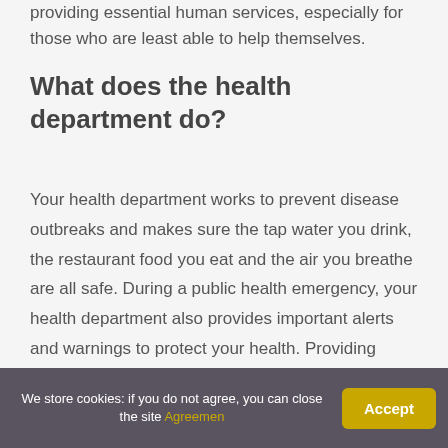providing essential human services, especially for those who are least able to help themselves.
What does the health department do?
Your health department works to prevent disease outbreaks and makes sure the tap water you drink, the restaurant food you eat and the air you breathe are all safe. During a public health emergency, your health department also provides important alerts and warnings to protect your health. Providing healthy solutions.
How do I report a nursing
We store cookies: if you do not agree, you can close the site Agreemen
Accept